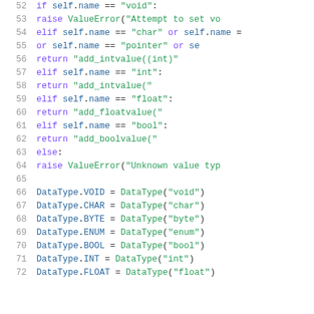Code listing lines 52-72: Python code showing DataType class methods and constants